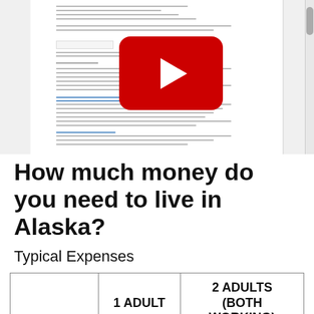[Figure (screenshot): Screenshot of a document page with a YouTube video player overlay showing a red play button, with scrollable document content visible in the background and a scrollbar on the right]
How much money do you need to live in Alaska?
Typical Expenses
|  | 1 ADULT | 2 ADULTS (BOTH WORKING) |
| --- | --- | --- |
|  | 0 | 3 Children |